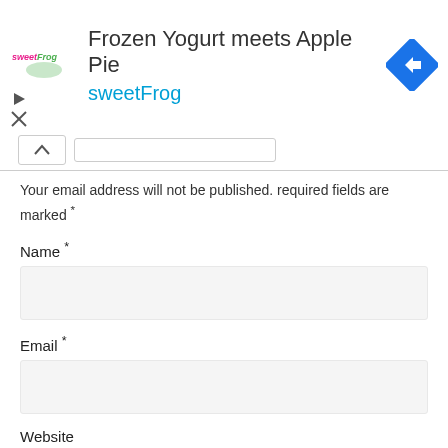[Figure (infographic): sweetFrog advertisement banner with logo, headline 'Frozen Yogurt meets Apple Pie', brand name 'sweetFrog', and a blue diamond navigation icon]
Your email address will not be published. required fields are marked *
Name *
Email *
Website
Message